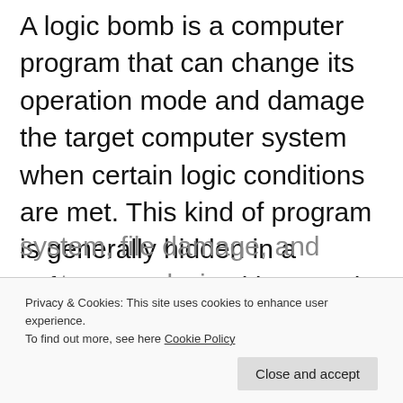A logic bomb is a computer program that can change its operation mode and damage the target computer system when certain logic conditions are met. This kind of program is generally hidden in a software system with normal functions. In the absence of triggering conditions, the logic bomb is hidden, the system is running well, and the user does not notice any abnormality. However, once the trigger conditions are met, the logic bomb will
system, file damage, and system paralysis.
Privacy & Cookies: This site uses cookies to enhance user experience. To find out more, see here Cookie Policy
Close and accept